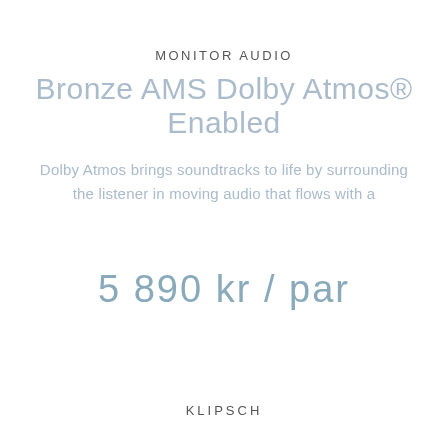MONITOR AUDIO
Bronze AMS Dolby Atmos® Enabled
Dolby Atmos brings soundtracks to life by surrounding the listener in moving audio that flows with a
5 890 kr / par
KLIPSCH